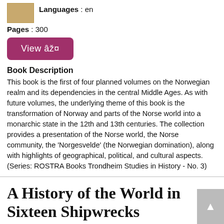[Figure (other): Book cover thumbnail image (tan/brown colored)]
Languages : en
Pages : 300
View 🔗
Book Description
This book is the first of four planned volumes on the Norwegian realm and its dependencies in the central Middle Ages. As with future volumes, the underlying theme of this book is the transformation of Norway and parts of the Norse world into a monarchic state in the 12th and 13th centuries. The collection provides a presentation of the Norse world, the Norse community, the 'Norgesvelde' (the Norwegian domination), along with highlights of geographical, political, and cultural aspects. (Series: ROSTRA Books Trondheim Studies in History - No. 3)
A History of the World in Sixteen Shipwrecks